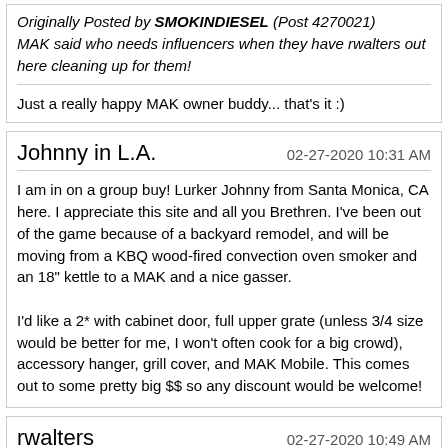Originally Posted by SMOKINDIESEL (Post 4270021) MAK said who needs influencers when they have rwalters out here cleaning up for them!
Just a really happy MAK owner buddy... that's it :)
Johnny in L.A.
02-27-2020 10:31 AM
I am in on a group buy! Lurker Johnny from Santa Monica, CA here. I appreciate this site and all you Brethren. I've been out of the game because of a backyard remodel, and will be moving from a KBQ wood-fired convection oven smoker and an 18" kettle to a MAK and a nice gasser.

I'd like a 2* with cabinet door, full upper grate (unless 3/4 size would be better for me, I won't often cook for a big crowd), accessory hanger, grill cover, and MAK Mobile. This comes out to some pretty big $$ so any discount would be welcome!
rwalters
02-27-2020 10:49 AM
Quote: